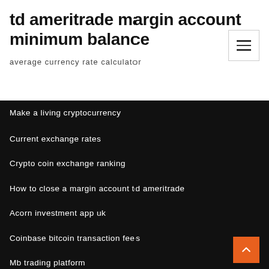td ameritrade margin account minimum balance
average currency rate calculator
Make a living cryptocurrency
Current exchange rates
Crypto coin exchange ranking
How to close a margin account td ameritrade
Acorn investment app uk
Coinbase bitcoin transaction fees
Mb trading platform
Stock brokerage charges comparison india